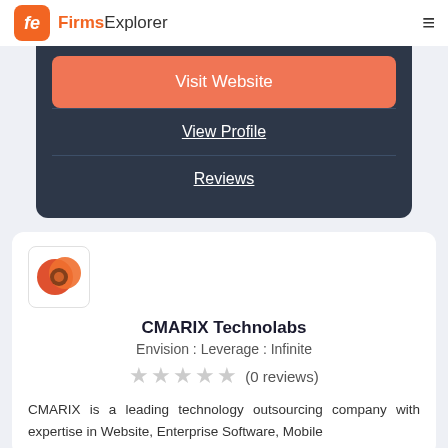FirmsExplorer
Visit Website
View Profile
Reviews
[Figure (logo): CMARIX Technolabs logo - orange/red circular design]
CMARIX Technolabs
Envision : Leverage : Infinite
★★★★★ (0 reviews)
CMARIX is a leading technology outsourcing company with expertise in Website, Enterprise Software, Mobile